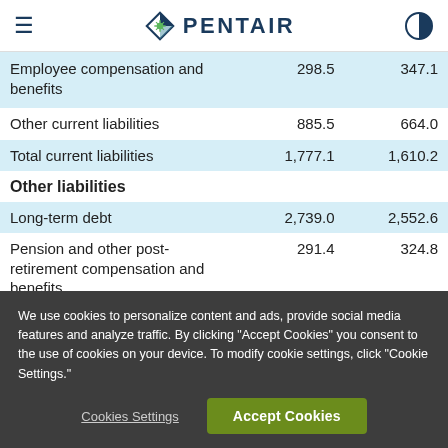Pentair
|  | Col1 | Col2 |
| --- | --- | --- |
| Employee compensation and benefits | 298.5 | 347.1 |
| Other current liabilities | 885.5 | 664.0 |
| Total current liabilities | 1,777.1 | 1,610.2 |
| Other liabilities |  |  |
| Long-term debt | 2,739.0 | 2,552.6 |
| Pension and other post-retirement compensation and benefits | 291.4 | 324.8 |
| Deferred tax liabilities | 608.6 | 580.6 |
We use cookies to personalize content and ads, provide social media features and analyze traffic. By clicking "Accept Cookies" you consent to the use of cookies on your device. To modify cookie settings, click "Cookie Settings."